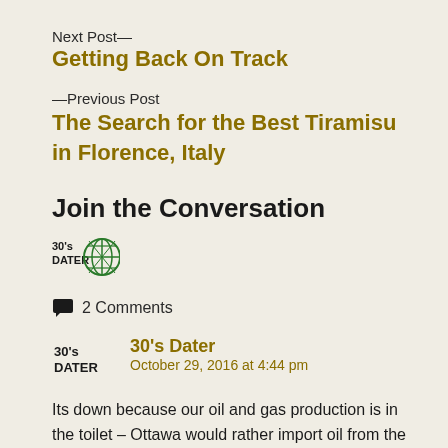Next Post—
Getting Back On Track
—Previous Post
The Search for the Best Tiramisu in Florence, Italy
Join the Conversation
[Figure (logo): 30's DATER logo with globe/network icon in green]
2 Comments
30's Dater
October 29, 2016 at 4:44 pm
Its down because our oil and gas production is in the toilet – Ottawa would rather import oil from the